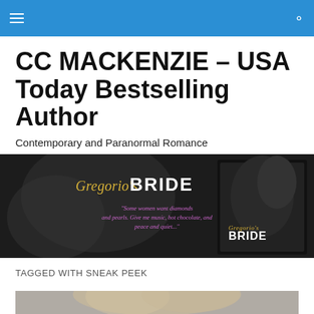Navigation bar with hamburger menu and search icon
CC MACKENZIE – USA Today Bestselling Author
Contemporary and Paranormal Romance
[Figure (illustration): Dark banner image for the book 'Gregorio's BRIDE' showing a couple in black and white, with a book cover on the right, and an italic quote: 'Some women want diamonds and pearls. Give me music, hot chocolate, and peace and quiet...']
TAGGED WITH SNEAK PEEK
[Figure (photo): Black and white partial photo of a woman with blonde hair, cropped at the bottom of the page]